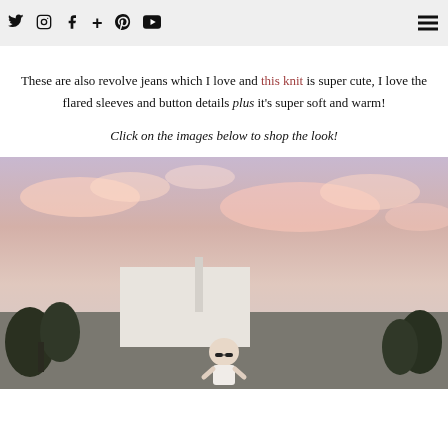Social icons: Twitter, Instagram, Facebook, Plus, Pinterest, YouTube; Hamburger menu
These are also revolve jeans which I love and this knit is super cute, I love the flared sleeves and button details plus it's super soft and warm!
Click on the images below to shop the look!
[Figure (photo): Woman with sunglasses on a rooftop at sunset with pink cloudy sky, white building, and palm trees in background]